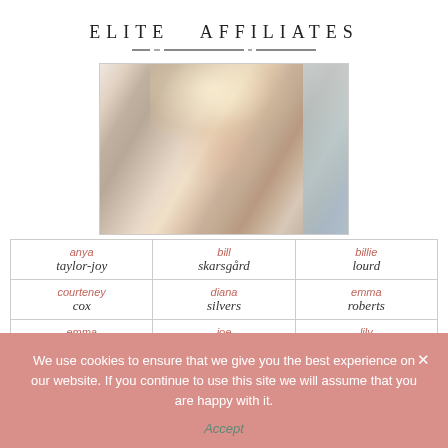ELITE AFFILIATES
[Figure (photo): Close-up photo of a blonde woman with wavy hair looking to the side]
| anya taylor-joy | bill skarsgård | billie lourd |
| courteney cox | diana silvers | emma roberts |
| emma mackey | joe keery | lily collins |
We use cookies to ensure that we give you the best experience on our website. If you continue to use this site we will assume that you are happy with it.
Accept